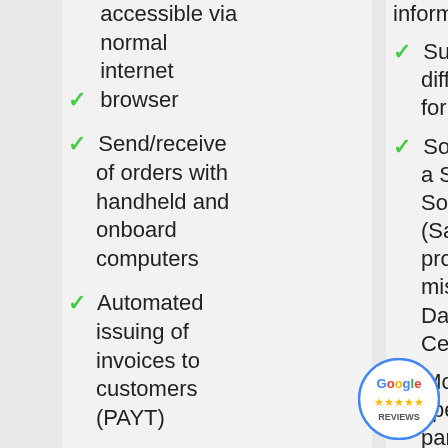accessible via normal internet browser
Send/receive of orders with handheld and onboard computers
Automated issuing of invoices to customers (PAYT)
information
Supports different map formats
Software as a Service Solution (SaaS) provides a missioncritical Data Process Center (DPC)
Monitoring of specific parameters and indicators collected through J1939 on vehicles
Web Services API that enables
[Figure (logo): Google Reviews badge with stars]